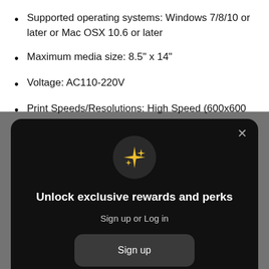Supported operating systems: Windows 7/8/10 or later or Mac OSX 10.6 or later
Maximum media size: 8.5" x 14"
Voltage: AC110-220V
Print Speeds/Resolutions: High Speed (600x600 dpi) 23 seconds; High Quality (600 dpi) 46 seconds; Advanced Photo (1200-1200 dpi) 106 seconds
[Figure (screenshot): Modal popup on dark overlay with sparkle icon, title 'Unlock exclusive rewards and perks', subtitle 'Sign up or Log in', a 'Sign up' button, and a footer 'Already have an account? Sign in']